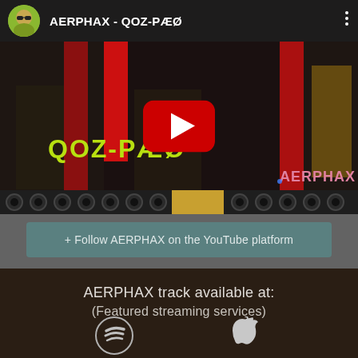[Figure (screenshot): YouTube video thumbnail showing AERPHAX - QOZ-PÆØ with a red play button overlay, dark building/architecture background with red vertical columns and yellow-green text 'QOZ-PÆØ' and pink text 'AERPHAX'. Video channel header shows avatar and channel name. Bottom shows a filmstrip/progress bar.]
+ Follow AERPHAX on the YouTube platform
AERPHAX track available at:
(Featured streaming services)
[Figure (logo): Spotify logo (white circular swirl lines on dark background) and Apple logo (white apple silhouette) side by side at bottom]